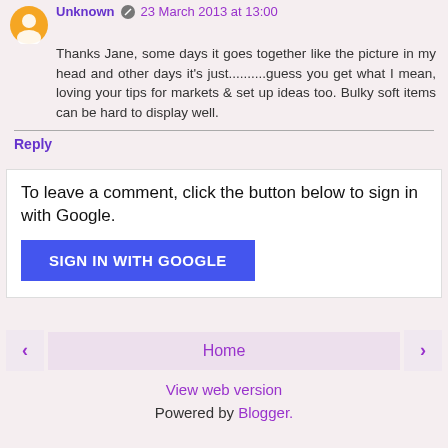Unknown · 23 March 2013 at 13:00
Thanks Jane, some days it goes together like the picture in my head and other days it's just..........guess you get what I mean, loving your tips for markets & set up ideas too. Bulky soft items can be hard to display well.
Reply
To leave a comment, click the button below to sign in with Google.
SIGN IN WITH GOOGLE
Home
View web version
Powered by Blogger.